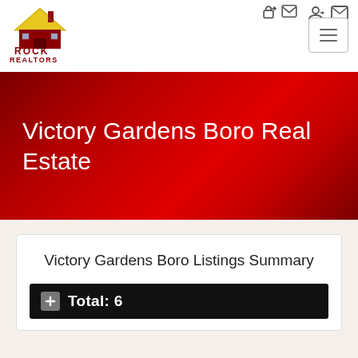[Figure (logo): Rock Realtors logo — house icon with yellow roof and red walls, text ROCK REALTORS in dark red below]
Victory Gardens Boro Real Estate
Victory Gardens Boro Listings Summary
Total: 6